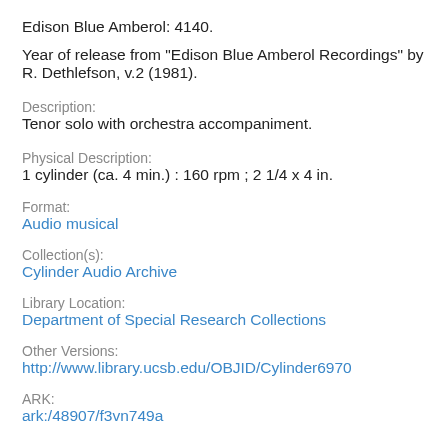Edison Blue Amberol: 4140.
Year of release from "Edison Blue Amberol Recordings" by R. Dethlefson, v.2 (1981).
Description:
Tenor solo with orchestra accompaniment.
Physical Description:
1 cylinder (ca. 4 min.) : 160 rpm ; 2 1/4 x 4 in.
Format:
Audio musical
Collection(s):
Cylinder Audio Archive
Library Location:
Department of Special Research Collections
Other Versions:
http://www.library.ucsb.edu/OBJID/Cylinder6970
ARK:
ark:/48907/f3vn749a